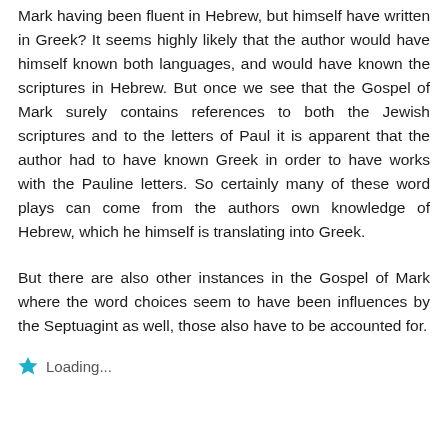Mark having been fluent in Hebrew, but himself have written in Greek? It seems highly likely that the author would have himself known both languages, and would have known the scriptures in Hebrew. But once we see that the Gospel of Mark surely contains references to both the Jewish scriptures and to the letters of Paul it is apparent that the author had to have known Greek in order to have works with the Pauline letters. So certainly many of these word plays can come from the authors own knowledge of Hebrew, which he himself is translating into Greek.
But there are also other instances in the Gospel of Mark where the word choices seem to have been influences by the Septuagint as well, those also have to be accounted for.
Loading...